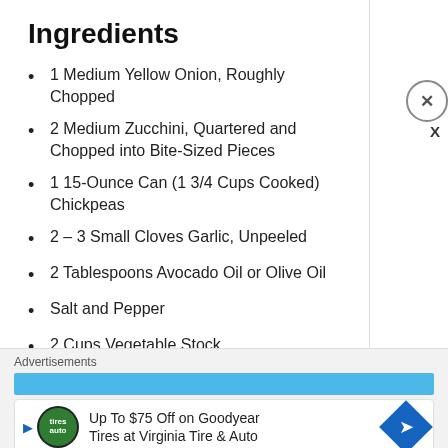Ingredients
1 Medium Yellow Onion, Roughly Chopped
2 Medium Zucchini, Quartered and Chopped into Bite-Sized Pieces
1 15-Ounce Can (1 3/4 Cups Cooked) Chickpeas
2 – 3 Small Cloves Garlic, Unpeeled
2 Tablespoons Avocado Oil or Olive Oil
Salt and Pepper
2 Cups Vegetable Stock
1 – 2 Tablespoons Nutritional Yeast
Fresh Parsley, as Needed
Advertisements
Up To $75 Off on Goodyear Tires at Virginia Tire & Auto